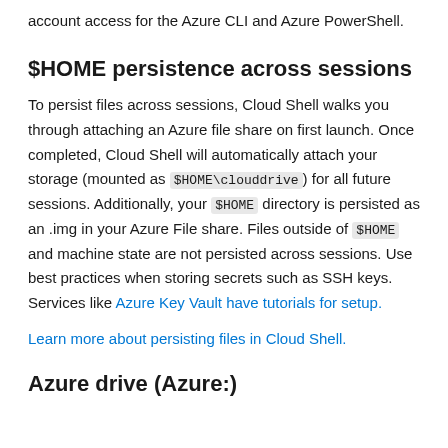account access for the Azure CLI and Azure PowerShell.
$HOME persistence across sessions
To persist files across sessions, Cloud Shell walks you through attaching an Azure file share on first launch. Once completed, Cloud Shell will automatically attach your storage (mounted as $HOME\clouddrive) for all future sessions. Additionally, your $HOME directory is persisted as an .img in your Azure File share. Files outside of $HOME and machine state are not persisted across sessions. Use best practices when storing secrets such as SSH keys. Services like Azure Key Vault have tutorials for setup.
Learn more about persisting files in Cloud Shell.
Azure drive (Azure:)